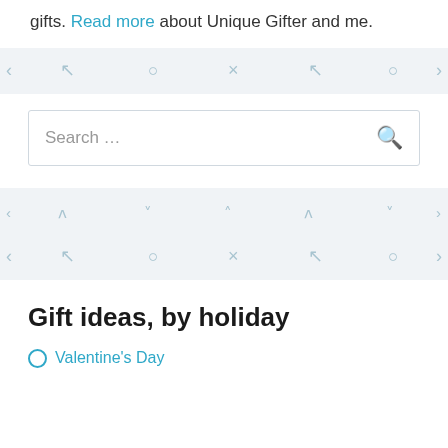gifts. Read more about Unique Gifter and me.
[Figure (infographic): Decorative divider strip with light blue symbols: arrow, droplet, X, arrow, droplet on light gray background]
Search ...
[Figure (infographic): Decorative divider strip with light blue caret symbols on light gray background]
[Figure (infographic): Decorative divider strip with light blue symbols: arrow, droplet, X, arrow, droplet on light gray background]
Gift ideas, by holiday
Valentine's Day